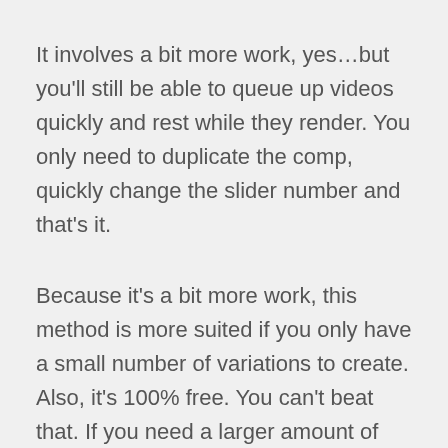It involves a bit more work, yes…but you'll still be able to queue up videos quickly and rest while they render. You only need to duplicate the comp, quickly change the slider number and that's it.
Because it's a bit more work, this method is more suited if you only have a small number of variations to create. Also, it's 100% free. You can't beat that. If you need a larger amount of videos though, the next method is